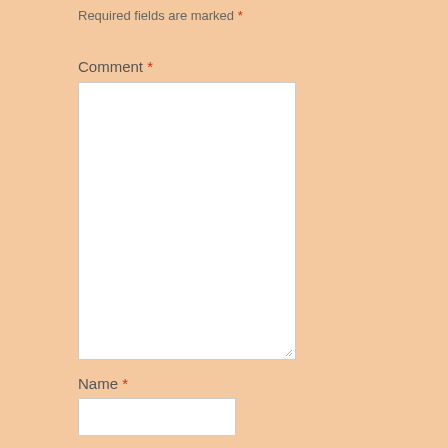Required fields are marked *
Comment *
[Figure (other): Empty comment textarea with resize handle in bottom-right corner]
Name *
[Figure (other): Empty name text input field]
Email *